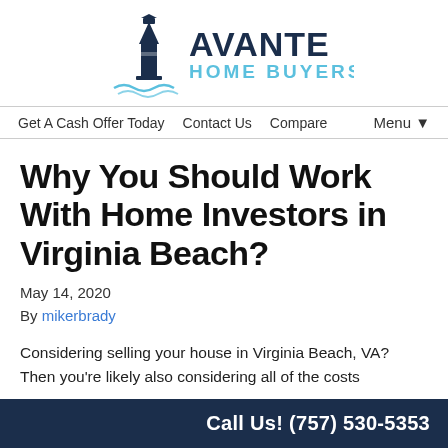[Figure (logo): Avante Home Buyers logo with lighthouse icon and wave design, dark navy blue and light blue text]
Get A Cash Offer Today   Contact Us   Compare   Menu ▼
Why You Should Work With Home Investors in Virginia Beach?
May 14, 2020
By mikerbrady
Considering selling your house in Virginia Beach, VA? Then you're likely also considering all of the costs
Call Us! (757) 530-5353